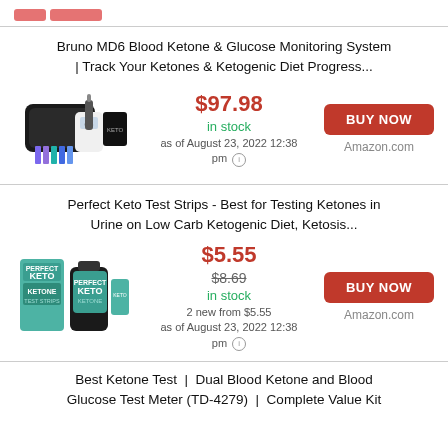[Figure (screenshot): Partial logo/image at top of page (cropped)]
Bruno MD6 Blood Ketone & Glucose Monitoring System | Track Your Ketones & Ketogenic Diet Progress...
[Figure (photo): Bruno MD6 Blood Ketone & Glucose Monitoring System product photo showing meter, case, test strips, and lancets]
$97.98 in stock as of August 23, 2022 12:38 pm
BUY NOW Amazon.com
Perfect Keto Test Strips - Best for Testing Ketones in Urine on Low Carb Ketogenic Diet, Ketosis...
[Figure (photo): Perfect Keto Test Strips product photo showing two teal/green boxes and bottle]
$5.55 $8.69 in stock 2 new from $5.55 as of August 23, 2022 12:38 pm
BUY NOW Amazon.com
Best Ketone Test | Dual Blood Ketone and Blood Glucose Test Meter (TD-4279) | Complete Value Kit